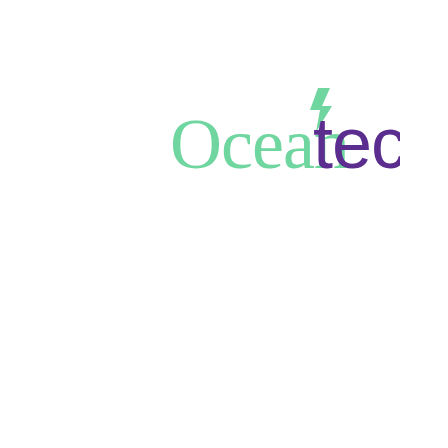[Figure (logo): Oceantec company logo. The word 'Ocean' is rendered in a light green serif font, and 'tec' is rendered in dark purple sans-serif font. Above the 't' in 'tec' is a small green lightning bolt or arrow icon pointing upward-right.]